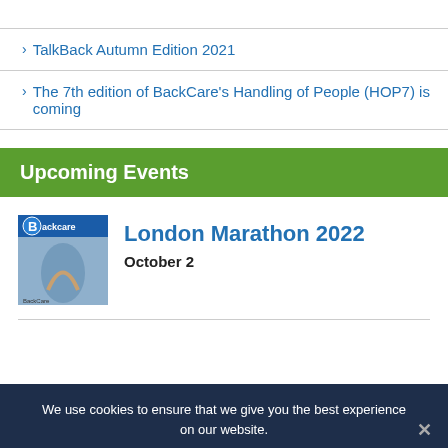TalkBack Autumn Edition 2021
The 7th edition of BackCare's Handling of People (HOP7) is coming
Upcoming Events
[Figure (logo): BackCare logo/cover image - blue circular B logo with 'Backcare' text and person with back pain image]
London Marathon 2022
October 2
We use cookies to ensure that we give you the best experience on our website.
I Accept · Read More